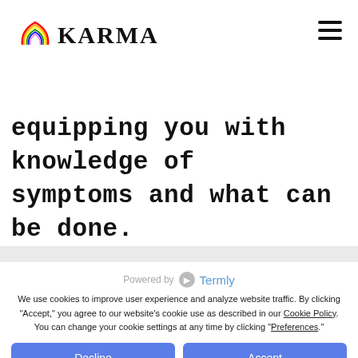KARMA logo with hamburger menu
Psycho-education: Keeping you informed about the diagnosis you may have,
equipping you with knowledge of symptoms and what can be done.
Powered by Termly
We use cookies to improve user experience and analyze website traffic. By clicking "Accept," you agree to our website's cookie use as described in our Cookie Policy. You can change your cookie settings at any time by clicking "Preferences."
Decline
Accept
Preferences
Our approach allows us to collect information from various schools of therapy. We are equipped to practice Cognitive Behavioural Therapy (CBT), Psychodynamic Therapy, Behaviour Therapy, Person-Centered Therapy, Narrative Therapy and Solution Focused Therapy. The aim of